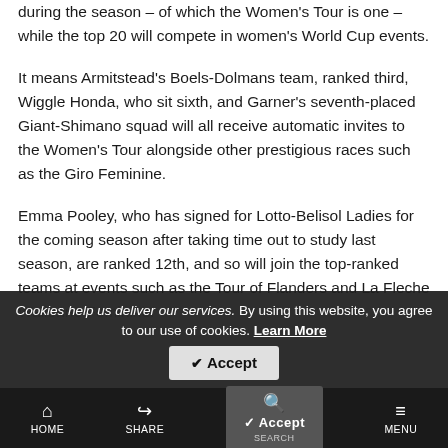during the season – of which the Women's Tour is one – while the top 20 will compete in women's World Cup events.
It means Armitstead's Boels-Dolmans team, ranked third, Wiggle Honda, who sit sixth, and Garner's seventh-placed Giant-Shimano squad will all receive automatic invites to the Women's Tour alongside other prestigious races such as the Giro Feminine.
Emma Pooley, who has signed for Lotto-Belisol Ladies for the coming season after taking time out to study last season, are ranked 12th, and so will join the top-ranked teams at events such as the Tour of Flanders and La Fleche Wallonne Feminine.
Cookies help us deliver our services. By using this website, you agree to our use of cookies. Learn More
HOME | SHARE | SEARCH | MENU